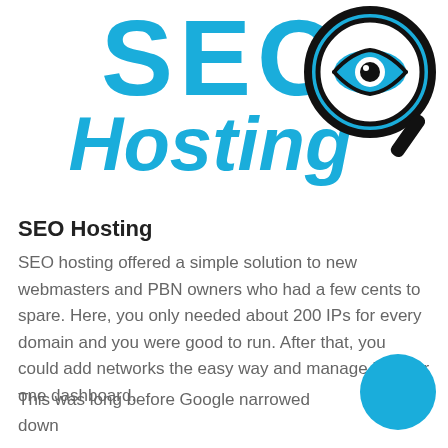[Figure (logo): SEO Hosting logo: large cyan/blue 'SEO' text with a magnifying glass containing an eye icon, and 'Hosting' in bold italic cyan below]
SEO Hosting
SEO hosting offered a simple solution to new webmasters and PBN owners who had a few cents to spare. Here, you only needed about 200 IPs for every domain and you were good to run. After that, you could add networks the easy way and manage it under one dashboard.
This was long before Google narrowed down